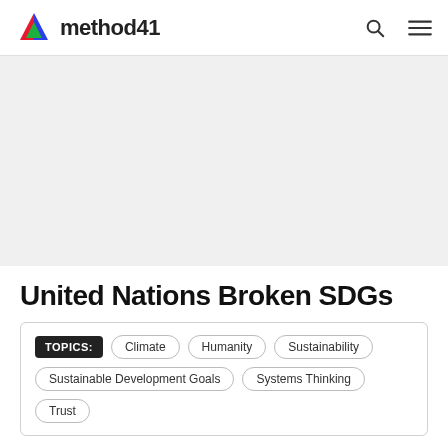method41
[Figure (photo): Large hero image area (mostly white/blank in screenshot)]
United Nations Broken SDGs
TOPICS: Climate  Humanity  Sustainability  Sustainable Development Goals  Systems Thinking  Trust